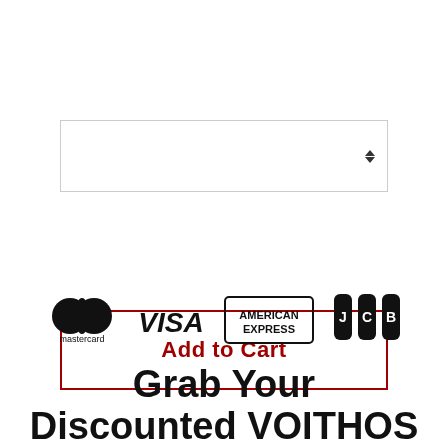[Figure (screenshot): Dropdown selector input box with up/down arrow indicator on the right side]
[Figure (screenshot): Red-bordered Add to Cart button with red bold text]
[Figure (logo): Payment method logos: Mastercard, VISA, American Express, JCB]
Grab Your Discounted VOITHOS